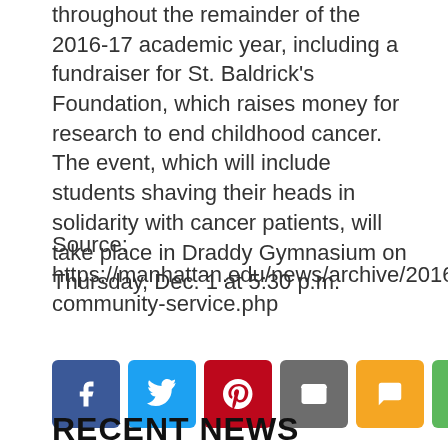throughout the remainder of the 2016-17 academic year, including a fundraiser for St. Baldrick's Foundation, which raises money for research to end childhood cancer. The event, which will include students shaving their heads in solidarity with cancer patients, will take place in Draddy Gymnasium on Thursday, Dec. 1 at 5:30 p.m.
Source: https://manhattan.edu/news/archive/2016/10/Athletics-community-service.php
[Figure (infographic): Social share buttons: Facebook (blue), Twitter (light blue), Pinterest (red), Email (gray), SMS (yellow/orange), Share (green)]
RECENT NEWS